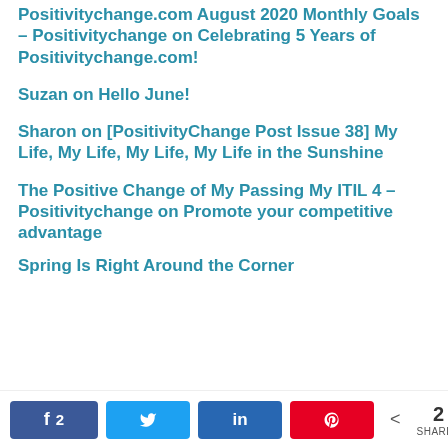Positivitychange.com August 2020 Monthly Goals – Positivitychange on Celebrating 5 Years of Positivitychange.com!
Suzan on Hello June!
Sharon on [PositivityChange Post Issue 38] My Life, My Life, My Life, My Life in the Sunshine
The Positive Change of My Passing My ITIL 4 – Positivitychange on Promote your competitive advantage
Spring Is Right Around the Corner
k 2  Twitter  in  Pinterest  < 2 SHARES